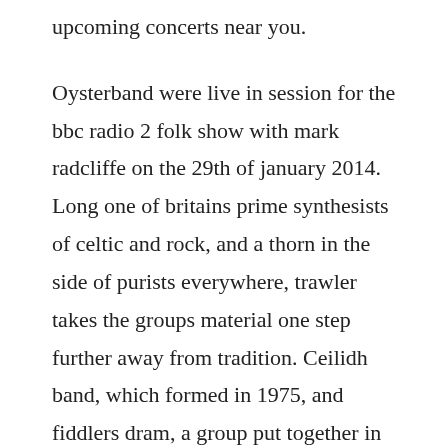upcoming concerts near you.
Oysterband were live in session for the bbc radio 2 folk show with mark radcliffe on the 29th of january 2014. Long one of britains prime synthesists of celtic and rock, and a thorn in the side of purists everywhere, trawler takes the groups material one step further away from tradition. Ceilidh band, which formed in 1975, and fiddlers dram, a group put together in 1973 by dave arbus, whose fiddle work has graced releases by east of eden and the who. This site will have limited functionality while we make